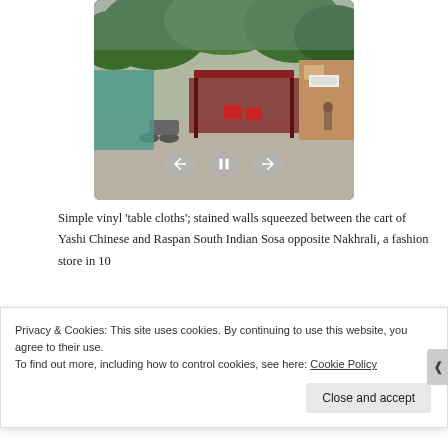[Figure (photo): A street scene photo showing a road with motorbikes, a stall with a dark red canopy, trees in the background, and red chairs visible near the stall. A video player interface overlays the image with back, pause, and forward controls at the bottom.]
Simple vinyl ‘table cloths’; stained walls squeezed between the cart of Yashi Chinese and Raspan South Indian Sosa opposite Nakhrali, a fashion store in 10
Privacy & Cookies: This site uses cookies. By continuing to use this website, you agree to their use. To find out more, including how to control cookies, see here: Cookie Policy